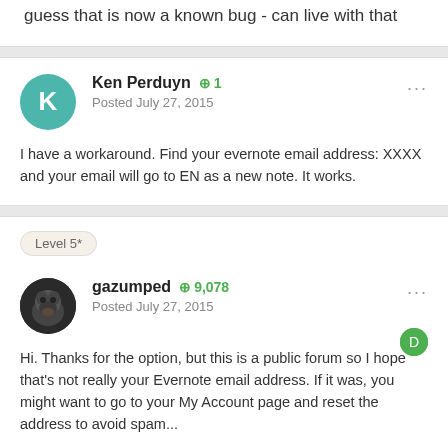guess that is now a known bug - can live with that
Ken Perduyn  +1  Posted July 27, 2015
I have a workaround.  Find your evernote email address: XXXX and your email will go to EN as a new note.  It works.
Level 5*
gazumped  +9,078  Posted July 27, 2015
Hi.  Thanks for the option,  but this is a public forum so I hope that's not really your Evernote email address.  If it was,  you might want to go to your My Account page and reset the address to avoid spam...